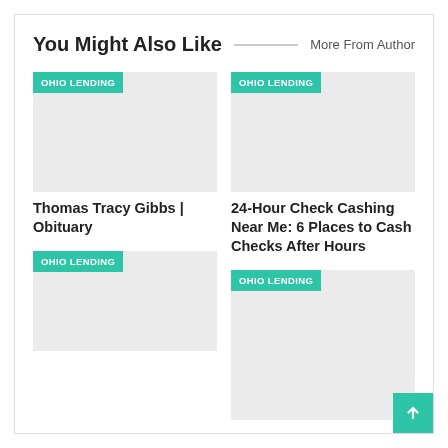You Might Also Like
More From Author
[Figure (other): Article thumbnail image placeholder with OHIO LENDING tag, grey rectangle]
Thomas Tracy Gibbs | Obituary
[Figure (other): Article thumbnail image placeholder with OHIO LENDING tag, grey rectangle]
24-Hour Check Cashing Near Me: 6 Places to Cash Checks After Hours
[Figure (other): Article thumbnail image placeholder with OHIO LENDING tag, grey rectangle]
[Figure (other): Article thumbnail image placeholder with OHIO LENDING tag, grey rectangle]